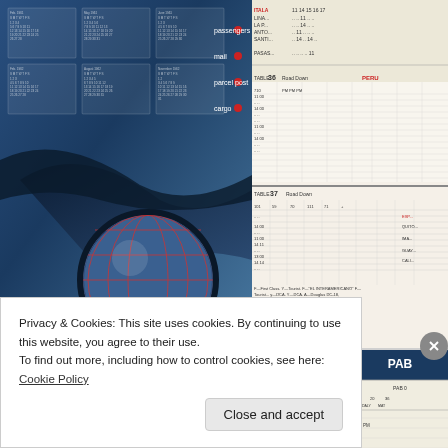[Figure (photo): Pan American World Airways timetable cover, blue gradient background with globe graphic, red grid lines on globe, wing/swoosh design, calendar grids at top, service listings (passengers, mail, parcel post, cargo) with red dots, tagline WORLD'S MOST EXPERIENCED AIRLINE at bottom]
[Figure (photo): Pan Am timetable interior pages showing flight schedule tables, Table 36 and Table 37 with route and flight number data, cities listed including Lima, Santiago, Buenos Aires area routes]
[Figure (photo): LATIN AMERICA SERVICES timetable page: PANAIR DO BRASIL S.A. - PAB, Table 40 showing Brazil routes including Manaus, Belem, Sao Luis, and other cities with flight times]
Privacy & Cookies: This site uses cookies. By continuing to use this website, you agree to their use.
To find out more, including how to control cookies, see here: Cookie Policy
Close and accept